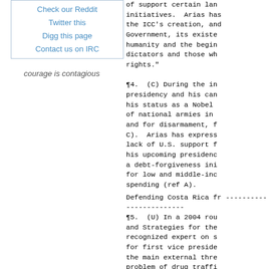Check our Reddit
Twitter this
Digg this page
Contact us on IRC
courage is contagious
of support certain land initiatives. Arias has the ICC's creation, and Government, its existen humanity and the begin dictators and those who rights."
¶4. (C) During the int presidency and his can his status as a Nobel of national armies in and for disarmament, fo C). Arias has expresse lack of U.S. support f his upcoming presidency a debt-forgiveness ini for low and middle-inc spending (ref A).
Defending Costa Rica fr
¶5. (U) In a 2004 rou and Strategies for the recognized expert on s for first vice presid the main external thr problem of drug traffi and persons) in Costa borders. Costa Rica, drug-producing and dru